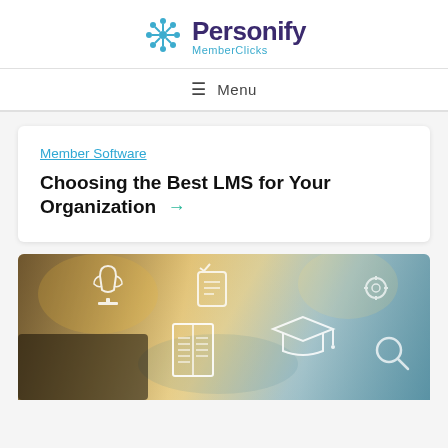[Figure (logo): Personify MemberClicks logo with teal snowflake/asterisk icon and purple text]
≡ Menu
Member Software
Choosing the Best LMS for Your Organization →
[Figure (photo): Person using a laptop with overlay icons representing learning management: trophy, book, graduation cap, search icon - warm bokeh background]